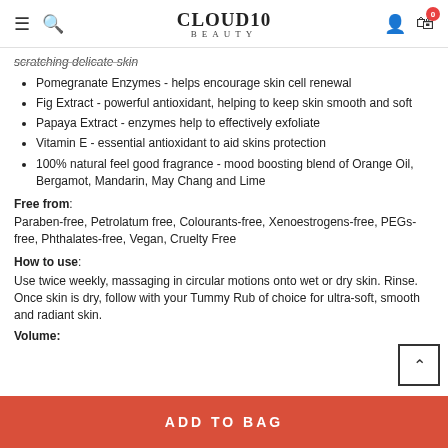CLOUD10 BEAUTY
scratching delicate skin
Pomegranate Enzymes - helps encourage skin cell renewal
Fig Extract - powerful antioxidant, helping to keep skin smooth and soft
Papaya Extract - enzymes help to effectively exfoliate
Vitamin E - essential antioxidant to aid skins protection
100% natural feel good fragrance - mood boosting blend of Orange Oil, Bergamot, Mandarin, May Chang and Lime
Free from:
Paraben-free, Petrolatum free, Colourants-free, Xenoestrogens-free, PEGs-free, Phthalates-free, Vegan, Cruelty Free
How to use:
Use twice weekly, massaging in circular motions onto wet or dry skin. Rinse. Once skin is dry, follow with your Tummy Rub of choice for ultra-soft, smooth and radiant skin.
Volume: